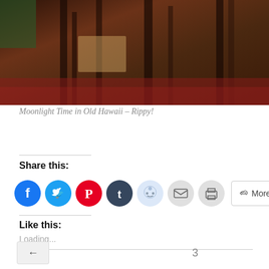[Figure (photo): Photo of antique wooden furniture — chairs and tables with dark wood and red patterned rug, viewed from above/side angle]
Moonlight Time in Old Hawaii – Rippy!
Share this:
[Figure (infographic): Row of social share buttons: Facebook (blue circle), Twitter (light blue circle), Pinterest (red circle), Tumblr (dark navy circle), Reddit (light blue circle), Email (grey circle), Print (grey circle), More button]
Like this:
Loading...
← 3